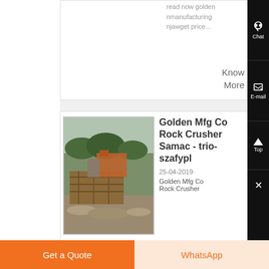read now goldennmanufacturingnjawget price...
Know More
[Figure (photo): Construction site with rock crusher machinery, wooden pallet structure and rubble in foreground, trees in background]
Golden Mfg Co Rock Crusher Samac - trio-szafypl
25-04-2019·
Golden Mfg Co Rock Crusher
Chat
E-mail
Top
×
Get a Quote
WhatsApp